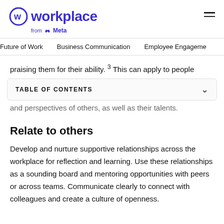Workplace from Meta
Future of Work  Business Communication  Employee Engagement
praising them for their ability. 3 This can apply to people
TABLE OF CONTENTS
and perspectives of others, as well as their talents.
Relate to others
Develop and nurture supportive relationships across the workplace for reflection and learning. Use these relationships as a sounding board and mentoring opportunities with peers or across teams. Communicate clearly to connect with colleagues and create a culture of openness.